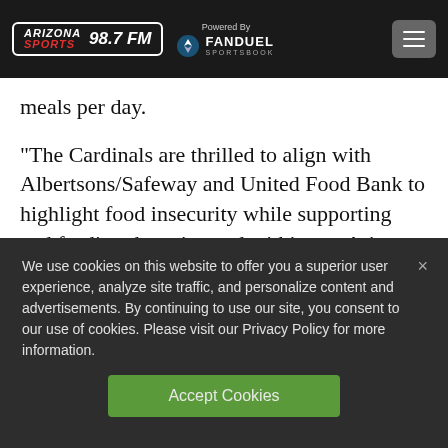Arizona Sports 98.7 FM — Powered By FanDuel Sportsbook
meals per day.
“The Cardinals are thrilled to align with Albertsons/Safeway and United Food Bank to highlight food insecurity while supporting and feeding those in need within our Arizona
We use cookies on this website to offer you a superior user experience, analyze site traffic, and personalize content and advertisements. By continuing to use our site, you consent to our use of cookies. Please visit our Privacy Policy for more information.
Accept Cookies